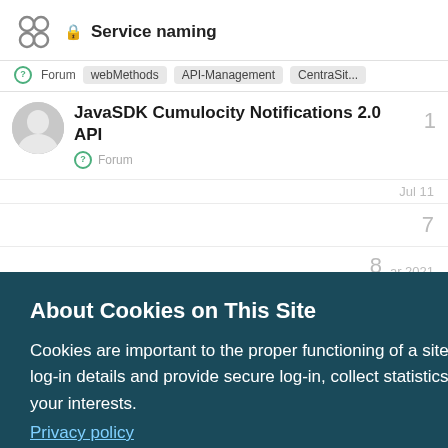Service naming
Forum  webMethods  API-Management  CentraSit...
JavaSDK Cumulocity Notifications 2.0 API
Forum
1
Jul 11
7
8
ar 2021
1
About Cookies on This Site
Cookies are important to the proper functioning of a site. To improve your experience, we use cookies to remember log-in details and provide secure log-in, collect statistics to optimize site functionality, and deliver content tailored to your interests.
Privacy policy
AGREE AND PROCEED
#IoT-Device-Connectivity...  #IoT-Data-Analytics...